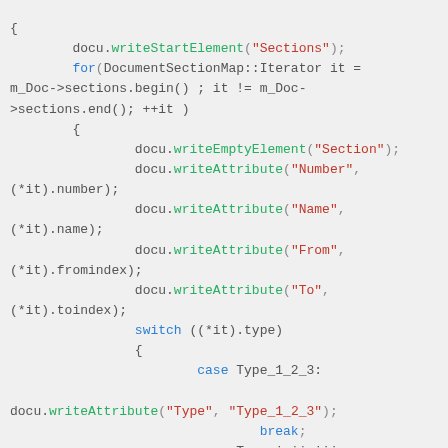Code snippet showing C++ XML serialization with DocumentSectionMap iterator and switch statement for section types